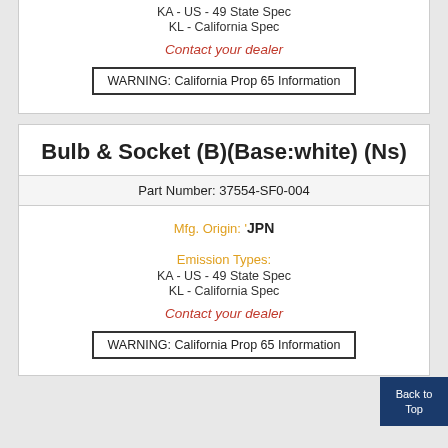KA - US - 49 State Spec
KL - California Spec
Contact your dealer
WARNING: California Prop 65 Information
Bulb & Socket (B)(Base:white) (Ns)
Part Number: 37554-SF0-004
Mfg. Origin: 'JPN
Emission Types:
KA - US - 49 State Spec
KL - California Spec
Contact your dealer
WARNING: California Prop 65 Information